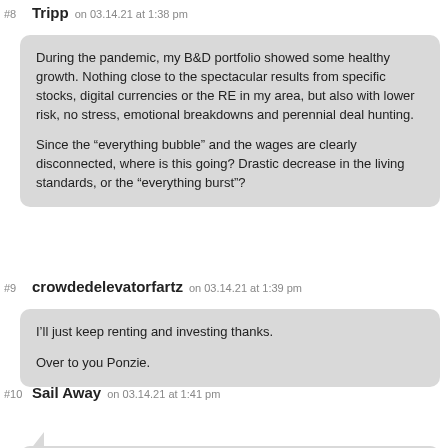#8 Tripp on 03.14.21 at 1:38 pm
During the pandemic, my B&D portfolio showed some healthy growth. Nothing close to the spectacular results from specific stocks, digital currencies or the RE in my area, but also with lower risk, no stress, emotional breakdowns and perennial deal hunting.

Since the “everything bubble” and the wages are clearly disconnected, where is this going? Drastic decrease in the living standards, or the “everything burst”?
#9 crowdedelevatorfartz on 03.14.21 at 1:39 pm
I’ll just keep renting and investing thanks.

Over to you Ponzie.
#10 Sail Away on 03.14.21 at 1:41 pm
Good picture! Swap out two of the doodles for a Springer and